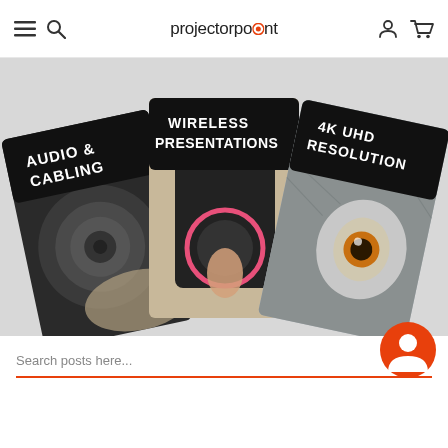projectorpoint
[Figure (photo): Three product booklets/brochures fanned out: 'Audio & Cabling' showing a speaker, 'Wireless Presentations' showing a wireless device being touched, '4K UHD Resolution' showing an owl eye close-up]
Search posts here...